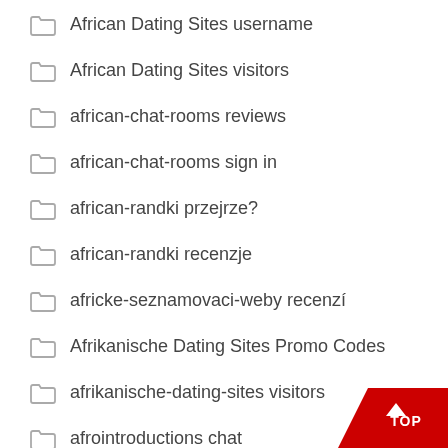African Dating Sites username
African Dating Sites visitors
african-chat-rooms reviews
african-chat-rooms sign in
african-randki przejrze?
african-randki recenzje
africke-seznamovaci-weby recenzí
Afrikanische Dating Sites Promo Codes
afrikanische-dating-sites visitors
afrointroductions chat
afrointroductions cs review
Afrointroductions frauen app